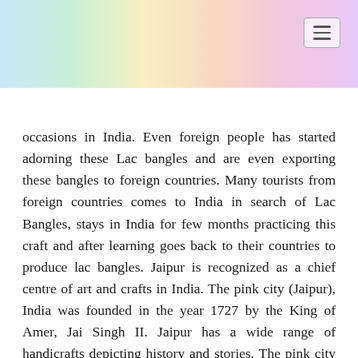[rainbow gradient header bar with hamburger menu icon]
occasions in India. Even foreign people has started adorning these Lac bangles and are even exporting these bangles to foreign countries. Many tourists from foreign countries comes to India in search of Lac Bangles, stays in India for few months practicing this craft and after learning goes back to their countries to produce lac bangles. Jaipur is recognized as a chief centre of art and crafts in India. The pink city (Jaipur), India was founded in the year 1727 by the King of Amer, Jai Singh II. Jaipur has a wide range of handicrafts depicting history and stories. The pink city is also prominent for its Lac Bangles which is easily available in Jaipur in various different designs. Lac Bangles are in high demand in India as they are considered as a lucky symbol of married women. Lac is the natural resin secreted by a tiny insect collected from trees and is